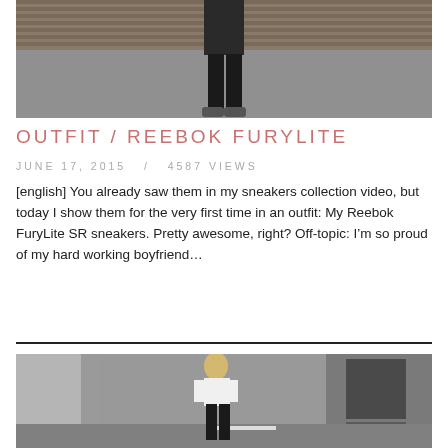[Figure (photo): Photo of a person wearing all black outfit and sneakers, standing on pavement, upper body cropped out of frame, industrial background with horizontal slats]
OUTFIT / REEBOK FURYLITE
JUNE 17, 2015   /   4587 VIEWS
[english] You already saw them in my sneakers collection video, but today I show them for the very first time in an outfit: My Reebok FuryLite SR sneakers. Pretty awesome, right? Off-topic: I'm so proud of my hard working boyfriend…
[Figure (photo): Photo of a blonde woman in white t-shirt and black pants walking in what appears to be a parking garage or outdoor concrete area]